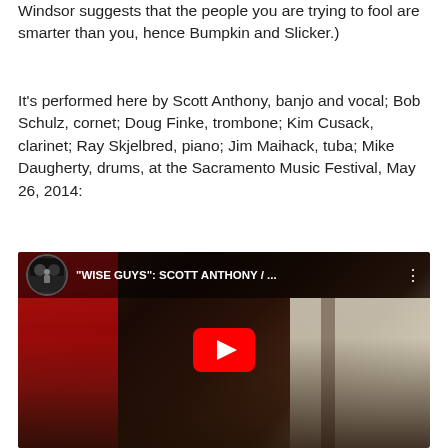Windsor suggests that the people you are trying to fool are smarter than you, hence Bumpkin and Slicker.)
It's performed here by Scott Anthony, banjo and vocal; Bob Schulz, cornet; Doug Finke, trombone; Kim Cusack, clarinet; Ray Skjelbred, piano; Jim Maihack, tuba; Mike Daugherty, drums, at the Sacramento Music Festival, May 26, 2014:
[Figure (screenshot): YouTube video thumbnail showing a jazz band performing at the Sacramento Music Festival. The video title reads '"WISE GUYS": SCOTT ANTHONY / ...' with a YouTube play button overlay. The band members are playing various instruments including tuba, trombone, banjo, and clarinet, seated indoors.]